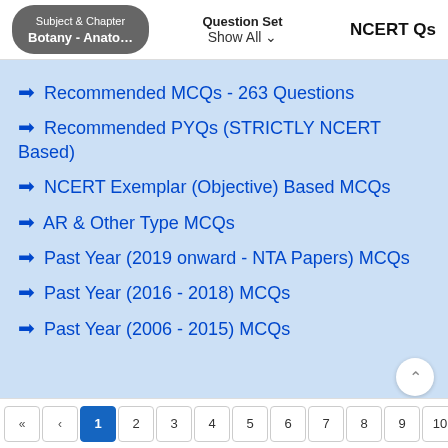Subject & Chapter Botany - Anato... | Question Set Show All | NCERT Qs
→ Recommended MCQs - 263 Questions
→ Recommended PYQs (STRICTLY NCERT Based)
→ NCERT Exemplar (Objective) Based MCQs
→ AR & Other Type MCQs
→ Past Year (2019 onward - NTA Papers) MCQs
→ Past Year (2016 - 2018) MCQs
→ Past Year (2006 - 2015) MCQs
« ‹ 1 2 3 4 5 6 7 8 9 10 ...